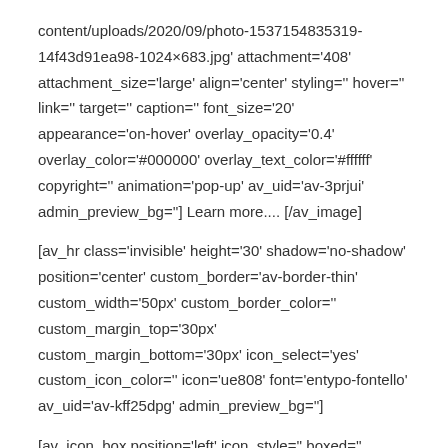content/uploads/2020/09/photo-1537154835319-14f43d91ea98-1024×683.jpg' attachment='408' attachment_size='large' align='center' styling='' hover='' link='' target='' caption='' font_size='20' appearance='on-hover' overlay_opacity='0.4' overlay_color='#000000' overlay_text_color='#ffffff' copyright='' animation='pop-up' av_uid='av-3prjui' admin_preview_bg=''] Learn more.... [/av_image]
[av_hr class='invisible' height='30' shadow='no-shadow' position='center' custom_border='av-border-thin' custom_width='50px' custom_border_color='' custom_margin_top='30px' custom_margin_bottom='30px' icon_select='yes' custom_icon_color='' icon='ue808' font='entypo-fontello' av_uid='av-kff25dpg' admin_preview_bg='']
[av_icon_box position='left' icon_style='' boxed='' icon='ue808' font='entypo-fontello' title='Slot Machine' link='' linktarget='